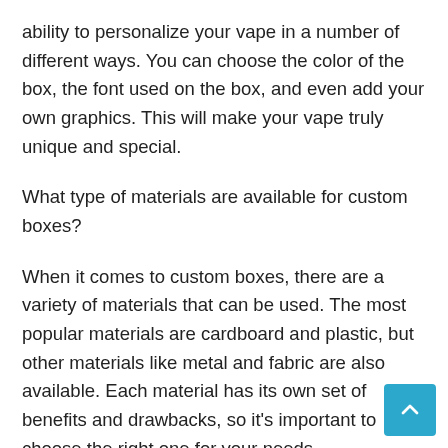ability to personalize your vape in a number of different ways. You can choose the color of the box, the font used on the box, and even add your own graphics. This will make your vape truly unique and special.
What type of materials are available for custom boxes?
When it comes to custom boxes, there are a variety of materials that can be used. The most popular materials are cardboard and plastic, but other materials like metal and fabric are also available. Each material has its own set of benefits and drawbacks, so it's important to choose the right one for your needs.